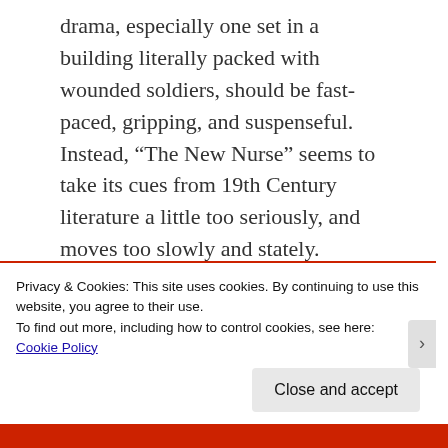drama, especially one set in a building literally packed with wounded soldiers, should be fast-paced, gripping, and suspenseful. Instead, “The New Nurse” seems to take its cues from 19th Century literature a little too seriously, and moves too slowly and stately.
Part of this may be the dialogue, which is sometimes well-crafted but too often reads like the writing of the period, rather than actual speech. I’ve noted before how difficult it
Privacy & Cookies: This site uses cookies. By continuing to use this website, you agree to their use.
To find out more, including how to control cookies, see here: Cookie Policy